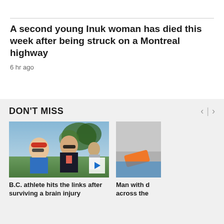A second young Inuk woman has died this week after being struck on a Montreal highway
6 hr ago
DON'T MISS
[Figure (photo): Two people posing outdoors, one wearing a red cap and blue shirt, the other in a dark polo with red stripe, trees in background. Video play button overlay.]
B.C. athlete hits the links after surviving a brain injury
[Figure (photo): Partially visible image, appears to show an orange object against grey background.]
Man with d across the